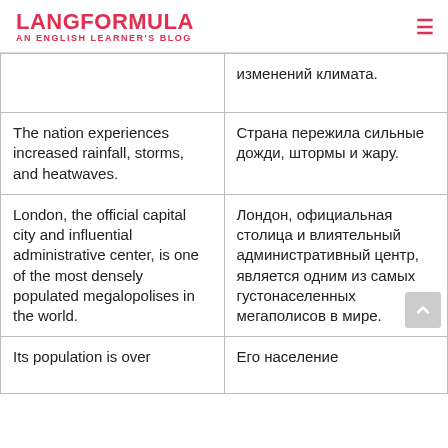LANGFORMULA — AN ENGLISH LEARNER'S BLOG
| изменений климата. |  |
| The nation experiences increased rainfall, storms, and heatwaves. | Страна пережила сильные дожди, штормы и жару. |
| London, the official capital city and influential administrative center, is one of the most densely populated megalopolises in the world. | Лондон, официальная столица и влиятельный административный центр, является одним из самых густонаселенных мегаполисов в мире. |
| Its population is over | Его население |